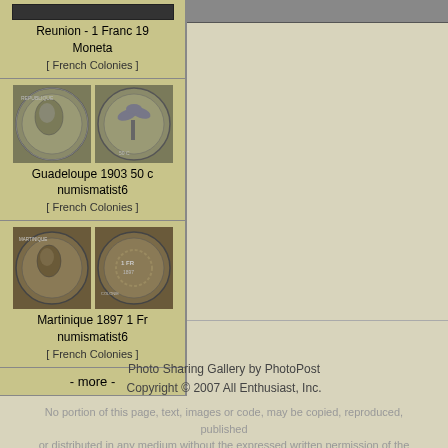Reunion - 1 Franc 19
Moneta

[ French Colonies ]
[Figure (photo): Two coin images side by side showing Guadeloupe 1903 50 c coin, obverse and reverse]
Guadeloupe 1903 50 c
numismatist6

[ French Colonies ]
[Figure (photo): Two coin images side by side showing Martinique 1897 1 Fr coin, obverse and reverse]
Martinique 1897 1 Fr
numismatist6

[ French Colonies ]
- more -
Photo Sharing Gallery by PhotoPost
Copyright © 2007 All Enthusiast, Inc.

No portion of this page, text, images or code, may be copied, reproduced, published or distributed in any medium without the expressed written permission of the copyright holder.